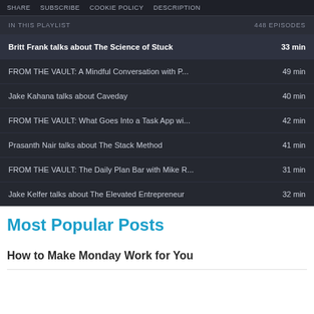SHARE  SUBSCRIBE  COOKIE POLICY  DESCRIPTION
IN THIS PLAYLIST  448 EPISODES
Britt Frank talks about The Science of Stuck  33 min
FROM THE VAULT: A Mindful Conversation with P...  49 min
Jake Kahana talks about Caveday  40 min
FROM THE VAULT: What Goes Into a Task App wi...  42 min
Prasanth Nair talks about The Stack Method  41 min
FROM THE VAULT: The Daily Plan Bar with Mike R...  31 min
Jake Kelfer talks about The Elevated Entrepreneur  32 min
Most Popular Posts
How to Make Monday Work for You